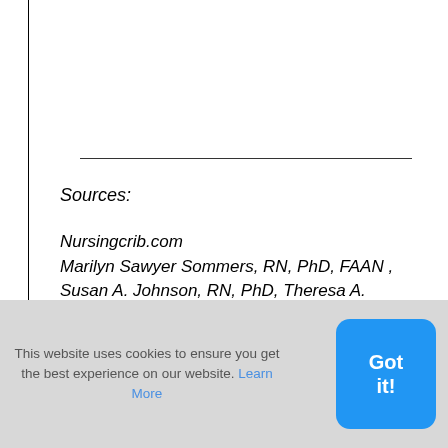Sources:
Nursingcrib.com
Marilyn Sawyer Sommers, RN, PhD, FAAN , Susan A. Johnson, RN, PhD, Theresa A. Beery, PhD, RN , DISEASES AND DISORDERS A Nursing